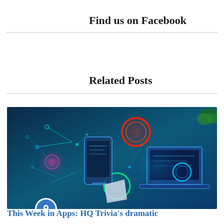Find us on Facebook
Related Posts
[Figure (illustration): Technology illustration showing smartphones and laptops with glowing neon UI elements, colorful circles and network connections on a blue background]
This Week in Apps: HQ Trivia's dramatic